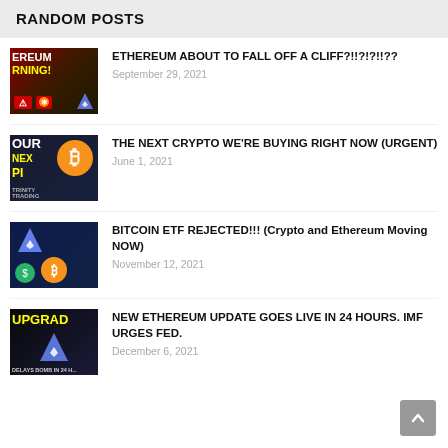RANDOM POSTS
[Figure (photo): Thumbnail image for Ethereum warning post with yellow/red graphics]
ETHEREUM ABOUT TO FALL OFF A CLIFF?!!?!?!!??
September 29, 2021
[Figure (photo): Thumbnail image for next crypto pick post with Bitcoin graphic]
THE NEXT CRYPTO WE'RE BUYING RIGHT NOW (URGENT)
June 1, 2021
[Figure (photo): Thumbnail image for Bitcoin ETF rejected post with crypto coin graphics]
BITCOIN ETF REJECTED!!! (Crypto and Ethereum Moving NOW)
November 12, 2021
[Figure (photo): Thumbnail image for Ethereum upgrade post with upgrade text and Ethereum logo]
NEW ETHEREUM UPDATE GOES LIVE IN 24 HOURS. IMF URGES FED.
December 6, 2021